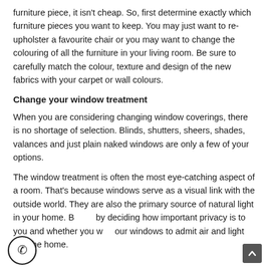furniture piece, it isn't cheap. So, first determine exactly which furniture pieces you want to keep. You may just want to re-upholster a favourite chair or you may want to change the colouring of all the furniture in your living room. Be sure to carefully match the colour, texture and design of the new fabrics with your carpet or wall colours.
Change your window treatment
When you are considering changing window coverings, there is no shortage of selection. Blinds, shutters, sheers, shades, valances and just plain naked windows are only a few of your options.
The window treatment is often the most eye-catching aspect of a room. That's because windows serve as a visual link with the outside world. They are also the primary source of natural light in your home. By deciding how important privacy is to you and whether you want your windows to admit air and light into the home.